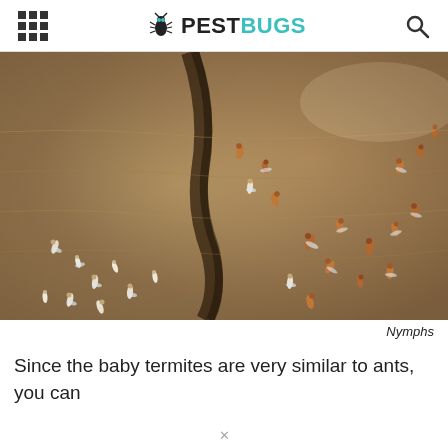PESTBUGS
[Figure (photo): Close-up macro photo of termite nymphs (baby termites) on a brown wood surface. Many small white and orange-brown winged and wingless termites are visible scattered across the textured surface.]
Nymphs
Since the baby termites are very similar to ants, you can